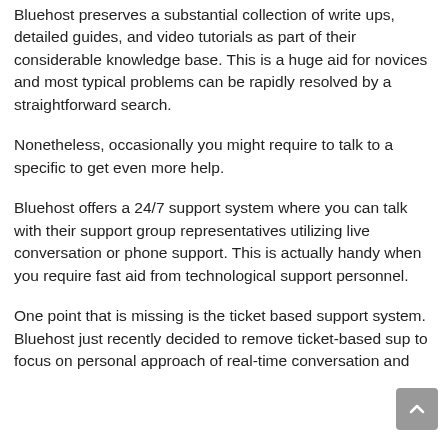Bluehost preserves a substantial collection of write ups, detailed guides, and video tutorials as part of their considerable knowledge base. This is a huge aid for novices and most typical problems can be rapidly resolved by a straightforward search.
Nonetheless, occasionally you might require to talk to a specific to get even more help.
Bluehost offers a 24/7 support system where you can talk with their support group representatives utilizing live conversation or phone support. This is actually handy when you require fast aid from technological support personnel.
One point that is missing is the ticket based support system. Bluehost just recently decided to remove ticket-based sup to focus on personal approach of real-time conversation and